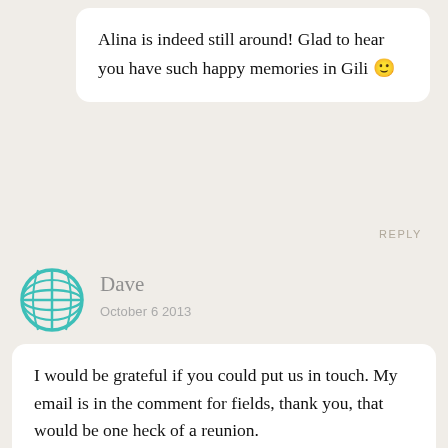Alina is indeed still around! Glad to hear you have such happy memories in Gili 🙂
REPLY
[Figure (illustration): Globe icon avatar for user Dave, teal/turquoise colored globe with latitude and longitude lines]
Dave
October 6 2013
I would be grateful if you could put us in touch. My email is in the comment for fields, thank you, that would be one heck of a reunion.
REPLY
[Figure (photo): Profile photo of Alex, a woman with blonde hair]
Alex